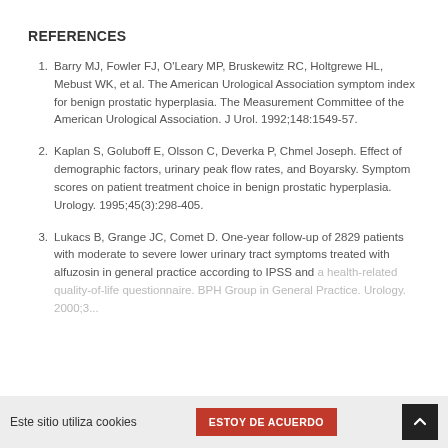REFERENCES
Barry MJ, Fowler FJ, O'Leary MP, Bruskewitz RC, Holtgrewe HL, Mebust WK, et al. The American Urological Association symptom index for benign prostatic hyperplasia. The Measurement Committee of the American Urological Association. J Urol. 1992;148:1549-57.
Kaplan S, Goluboff E, Olsson C, Deverka P, Chmel Joseph. Effect of demographic factors, urinary peak flow rates, and Boyarsky. Symptom scores on patient treatment choice in benign prostatic hyperplasia. Urology. 1995;45(3):298-405.
Lukacs B, Grange JC, Comet D. One-year follow-up of 2829 patients with moderate to severe lower urinary tract symptoms treated with alfuzosin in general practice according to IPSS and a health-related quality-of-life questionnaire. BPH Group in General Practice. Urology. 2000;3...